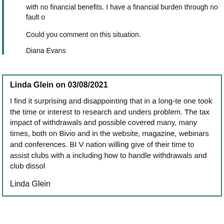with no financial benefits. I have a financial burden through no fault o
Could you comment on this situation.
Diana Evans
Linda Glein on 03/08/2021
I find it surprising and disappointing that in a long-te one took the time or interest to research and unders problem. The tax impact of withdrawals and possible covered many, many times, both on Bivio and in the website, magazine, webinars and conferences. BI V nation willing give of their time to assist clubs with a including how to handle withdrawals and club dissol
Linda Glein